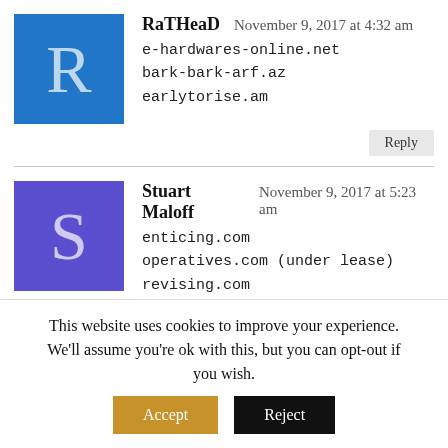RaTHeaD — November 9, 2017 at 4:32 am
e-hardwares-online.net
bark-bark-arf.az
earlytorise.am
Stuart Maloff — November 9, 2017 at 5:23 am
enticing.com
operatives.com (under lease)
revising.com
ThcNames — November 9, 2017 at 5:47 am
Blockchain.link
JiuJitsu.info
AltBlockchain.com
This website uses cookies to improve your experience. We'll assume you're ok with this, but you can opt-out if you wish.